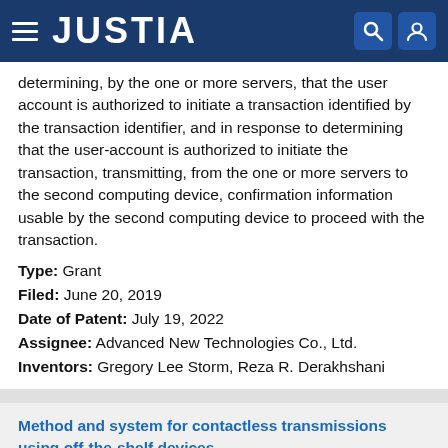JUSTIA
determining, by the one or more servers, that the user account is authorized to initiate a transaction identified by the transaction identifier, and in response to determining that the user-account is authorized to initiate the transaction, transmitting, from the one or more servers to the second computing device, confirmation information usable by the second computing device to proceed with the transaction.
Type: Grant
Filed: June 20, 2019
Date of Patent: July 19, 2022
Assignee: Advanced New Technologies Co., Ltd.
Inventors: Gregory Lee Storm, Reza R. Derakhshani
Method and system for contactless transmissions using off-the-shelf devices
Patent number: 11392925